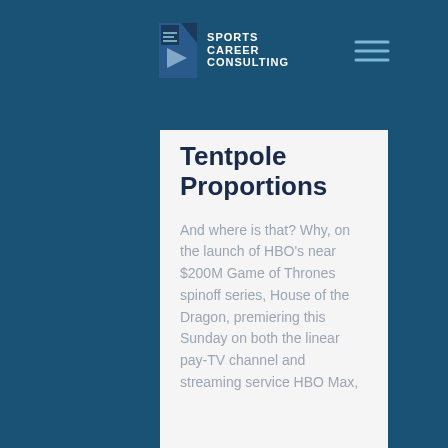Sports Career Consulting
Tentpole Proportions
And where is that? Why, on the launch of HBO’s near $200M Game of Thrones spinoff series, House of the Dragon, premiering this Sunday on both the linear pay-TV channel and streaming service HBO Max,